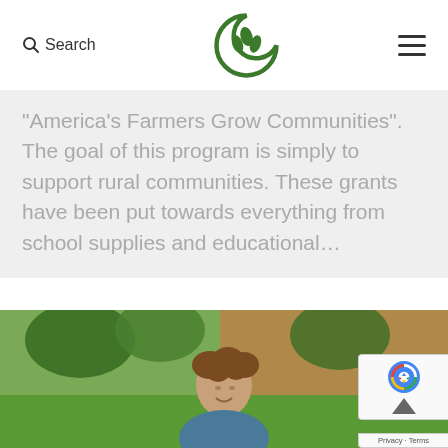Search | [Logo] | [Menu]
“America’s Farmers Grow Communities”. The goal of this program is simply to support rural communities. These grants have been put towards everything from school supplies and educational…
[Figure (photo): Outdoor photo of a smiling woman with curly hair, standing in front of a green lawn and a building, with trees in the background.]